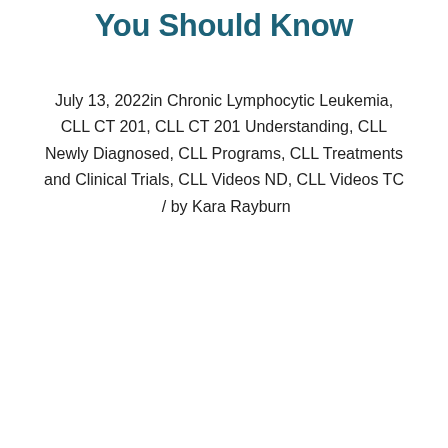You Should Know
July 13, 2022in Chronic Lymphocytic Leukemia, CLL CT 201, CLL CT 201 Understanding, CLL Newly Diagnosed, CLL Programs, CLL Treatments and Clinical Trials, CLL Videos ND, CLL Videos TC  /  by Kara Rayburn